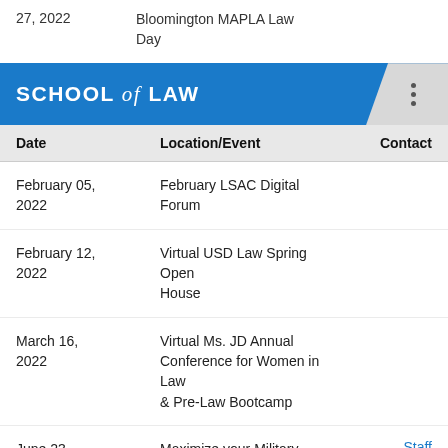27, 2022    Bloomington MAPLA Law Day
[Figure (logo): School of Law header bar with blue background and three-dot menu icon]
| Date | Location/Event | Contact |
| --- | --- | --- |
| February 05, 2022 | February LSAC Digital Forum |  |
| February 12, 2022 | Virtual USD Law Spring Open House |  |
| March 16, 2022 | Virtual Ms. JD Annual Conference for Women in Law & Pre-Law Bootcamp |  |
| June 23, 2022 | Maximize your Military Resources at USD Law | Staff |